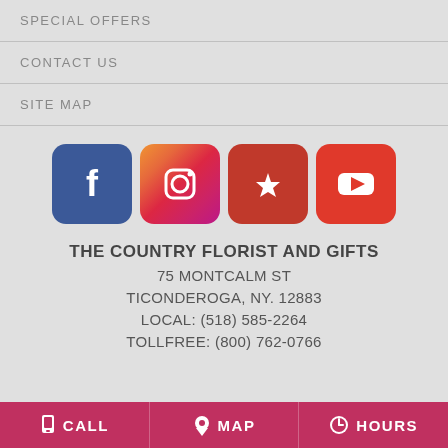SPECIAL OFFERS
CONTACT US
SITE MAP
[Figure (logo): Social media icons: Facebook, Instagram, Yelp, YouTube]
THE COUNTRY FLORIST AND GIFTS
75 MONTCALM ST
TICONDEROGA, NY. 12883
LOCAL: (518) 585-2264
TOLLFREE: (800) 762-0766
CALL   MAP   HOURS